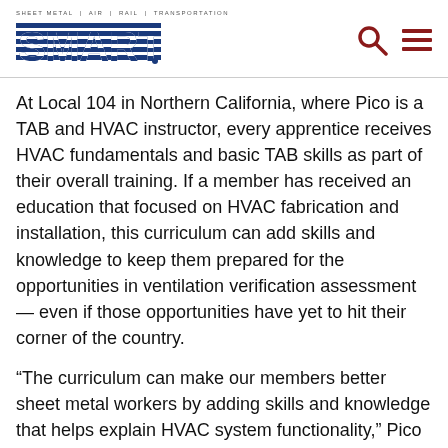SMART — Sheet Metal Air Rail Transportation
At Local 104 in Northern California, where Pico is a TAB and HVAC instructor, every apprentice receives HVAC fundamentals and basic TAB skills as part of their overall training. If a member has received an education that focused on HVAC fabrication and installation, this curriculum can add skills and knowledge to keep them prepared for the opportunities in ventilation verification assessment — even if those opportunities have yet to hit their corner of the country.
“The curriculum can make our members better sheet metal workers by adding skills and knowledge that helps explain HVAC system functionality,” Pico said. “New sheet metal workers have the tools to